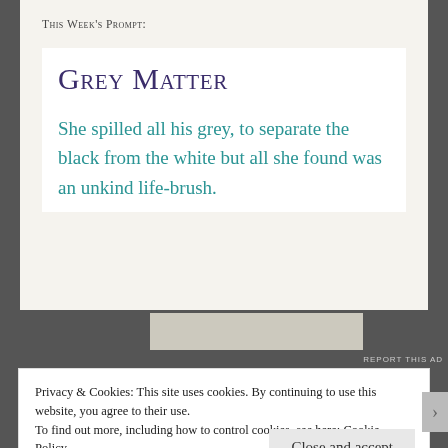This Week's Prompt:
Grey Matter
She spilled all his grey, to separate the black from the white but all she found was an unkind life-brush.
REPORT THIS AD
Privacy & Cookies: This site uses cookies. By continuing to use this website, you agree to their use.
To find out more, including how to control cookies, see here: Cookie Policy
Close and accept